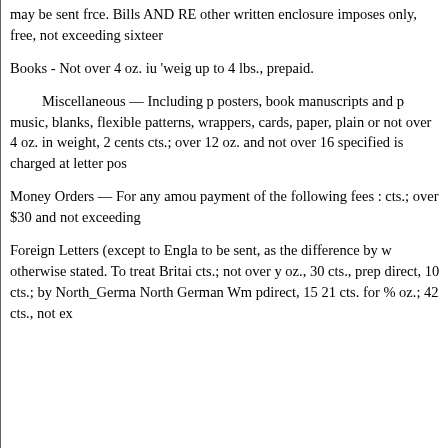may be sent frce. Bills AND RE other written enclosure imposes only, free, not exceeding sixteer
Books - Not over 4 oz. iu 'weig up to 4 lbs., prepaid.
Miscellaneous — Including p posters, book manuscripts and p music, blanks, flexible patterns, wrappers, cards, paper, plain or not over 4 oz. in weight, 2 cents cts.; over 12 oz. and not over 16 specified is charged at letter pos
Money Orders — For any amou payment of the following fees : cts.; over $30 and not exceeding
Foreign Letters (except to Engla to be sent, as the difference by w otherwise stated. To treat Britai cts.; not over y oz., 30 cts., prep direct, 10 cts.; by North_Germa North German Wm pdirect, 15 21 cts. for % oz.; 42 cts., not ex